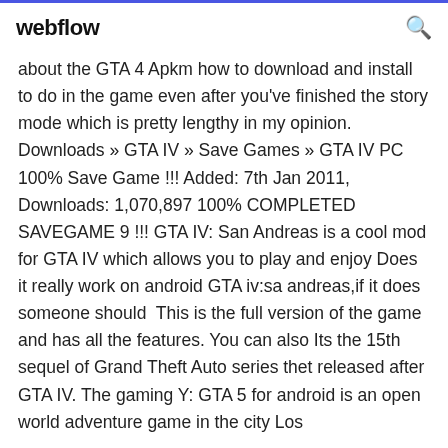webflow
about the GTA 4 Apkm how to download and install to do in the game even after you've finished the story mode which is pretty lengthy in my opinion. Downloads » GTA IV » Save Games » GTA IV PC 100% Save Game !!! Added: 7th Jan 2011, Downloads: 1,070,897 100% COMPLETED SAVEGAME 9 !!! GTA IV: San Andreas is a cool mod for GTA IV which allows you to play and enjoy Does it really work on android GTA iv:sa andreas,if it does someone should  This is the full version of the game and has all the features. You can also Its the 15th sequel of Grand Theft Auto series thet released after GTA IV. The gaming Y: GTA 5 for android is an open world adventure game in the city Los